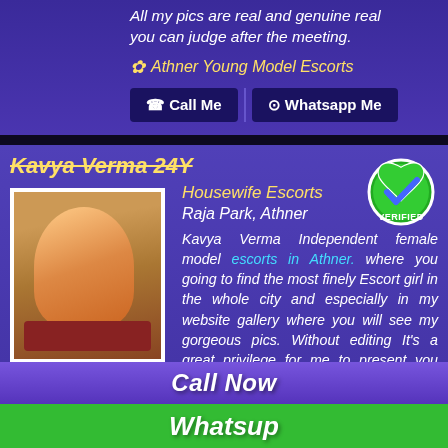All my pics are real and genuine real you can judge after the meeting.
✿ Athner Young Model Escorts
☎ Call Me  ⊙ Whatsapp Me
Kavya Verma 24Y
[Figure (photo): Profile photo of a woman in traditional Indian attire playing sitar]
[Figure (illustration): Green verified badge with checkmark]
Housewife Escorts
Raja Park, Athner
Kavya Verma Independent female model escorts in Athner. where you going to find the most finely Escort girl in the whole city and especially in my website gallery where you will see my gorgeous pics. Without editing It's a great privilege for me to present you leading site for High-class Escorts in Athner. I know that there are many fake photos being used by Athner
Call Now
Whatsup